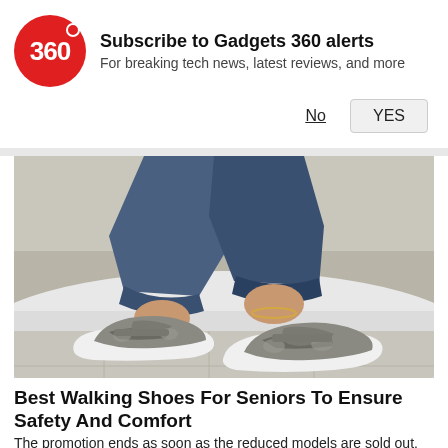Subscribe to Gadgets 360 alerts
For breaking tech news, latest reviews, and more
[Figure (photo): Photograph of a woman's legs wearing gray athletic sandal-sneaker hybrid shoes with white soles, sitting on a white fluffy surface with tiled floor visible. The shoes have velcro straps and cutout details. She is wearing blue jeans rolled at the ankle and a gold anklet.]
Best Walking Shoes For Seniors To Ensure Safety And Comfort
The promotion ends as soon as the reduced models are sold out.